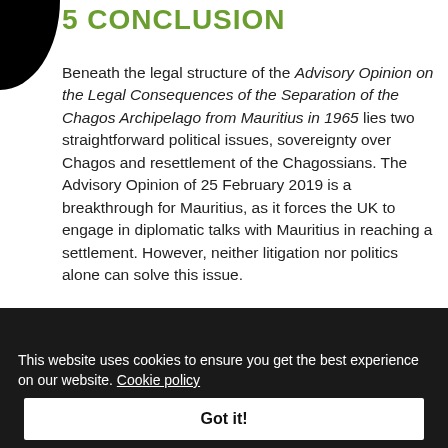5 CONCLUSION
Beneath the legal structure of the Advisory Opinion on the Legal Consequences of the Separation of the Chagos Archipelago from Mauritius in 1965 lies two straightforward political issues, sovereignty over Chagos and resettlement of the Chagossians. The Advisory Opinion of 25 February 2019 is a breakthrough for Mauritius, as it forces the UK to engage in diplomatic talks with Mauritius in reaching a settlement. However, neither litigation nor politics alone can solve this issue.
This website uses cookies to ensure you get the best experience on our website. Cookie policy Privacy policy
Got it!